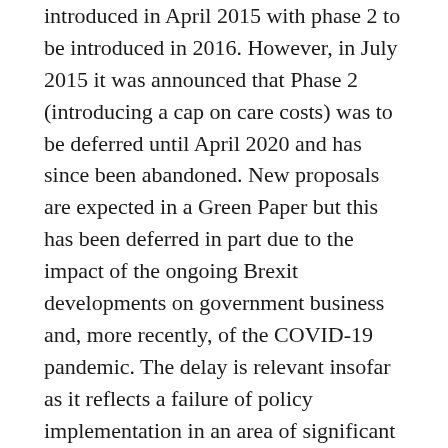introduced in April 2015 with phase 2 to be introduced in 2016. However, in July 2015 it was announced that Phase 2 (introducing a cap on care costs) was to be deferred until April 2020 and has since been abandoned. New proposals are expected in a Green Paper but this has been deferred in part due to the impact of the ongoing Brexit developments on government business and, more recently, of the COVID-19 pandemic. The delay is relevant insofar as it reflects a failure of policy implementation in an area of significant public concern.
The Care Act was seen as a significant part of a new approach to supporting adults with social care needs and the delivery of adult social care services. Its overarching objectives were to reduce reliance on